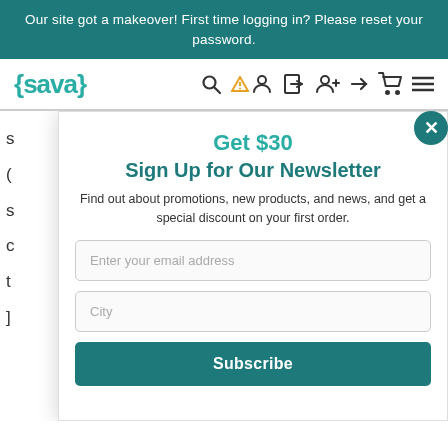Our site got a makeover! First time logging in? Please reset your password.
[Figure (screenshot): Navigation bar with Sava logo and icons for search, account, sign out, add account, sign in, cart, and menu]
s
(
s
c
t
]
Get $30
Sign Up for Our Newsletter
Find out about promotions, new products, and news, and get a special discount on your first order.
Enter your email address
City
Subscribe